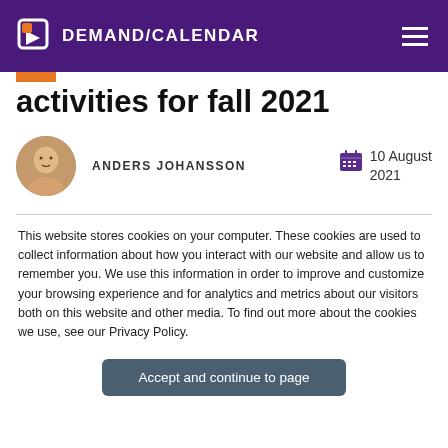DEMAND/CALENDAR
activities for fall 2021
ANDERS JOHANSSON
10 August 2021
This website stores cookies on your computer. These cookies are used to collect information about how you interact with our website and allow us to remember you. We use this information in order to improve and customize your browsing experience and for analytics and metrics about our visitors both on this website and other media. To find out more about the cookies we use, see our Privacy Policy.
Accept and continue to page